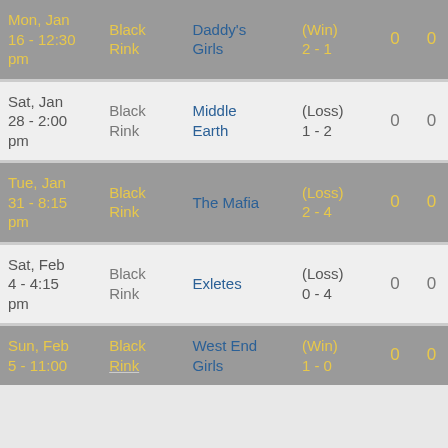| Date | Rink | Opponent | Result |  |  |
| --- | --- | --- | --- | --- | --- |
| Mon, Jan 16 - 12:30 pm | Black Rink | Daddy's Girls | (Win) 2 - 1 | 0 | 0 |
| Sat, Jan 28 - 2:00 pm | Black Rink | Middle Earth | (Loss) 1 - 2 | 0 | 0 |
| Tue, Jan 31 - 8:15 pm | Black Rink | The Mafia | (Loss) 2 - 4 | 0 | 0 |
| Sat, Feb 4 - 4:15 pm | Black Rink | Exletes | (Loss) 0 - 4 | 0 | 0 |
| Sun, Feb 5 - 11:00 | Black Rink | West End Girls | (Win) 1 - 0 | 0 | 0 |